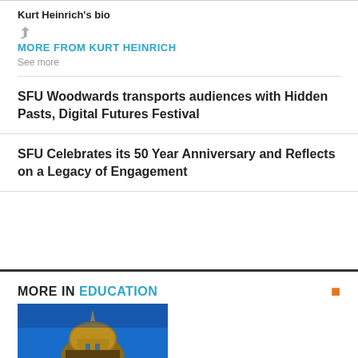Kurt Heinrich's bio
MORE FROM KURT HEINRICH
See more
SFU Woodwards transports audiences with Hidden Pasts, Digital Futures Festival
SFU Celebrates its 50 Year Anniversary and Reflects on a Legacy of Engagement
MORE IN EDUCATION
[Figure (photo): Photo of a domed building illuminated at night against a blue sky]